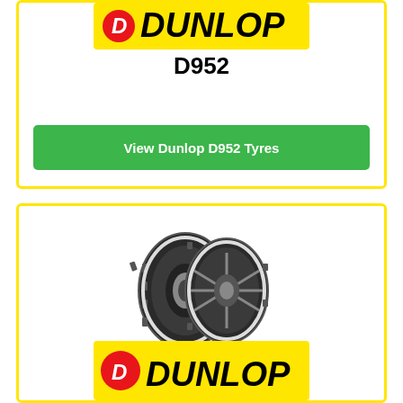[Figure (logo): Dunlop logo on yellow background, top card]
D952
View Dunlop D952 Tyres
[Figure (photo): Two motorcycle tyres (front and rear) side by side]
[Figure (logo): Dunlop logo on yellow background, bottom card]